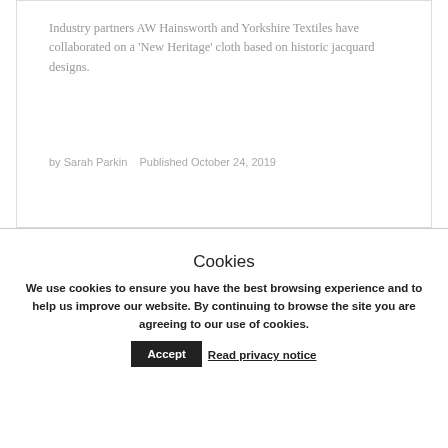Industry partners AW Hainsworth and Yorkshire Textiles have collaborated on a ‘New Heritage’ cloth based on historic jacquard designs.
by Sarah Parkin   Published October 24, 2019
Cookies
We use cookies to ensure you have the best browsing experience and to help us improve our website. By continuing to browse the site you are agreeing to our use of cookies.
Accept   Read privacy notice